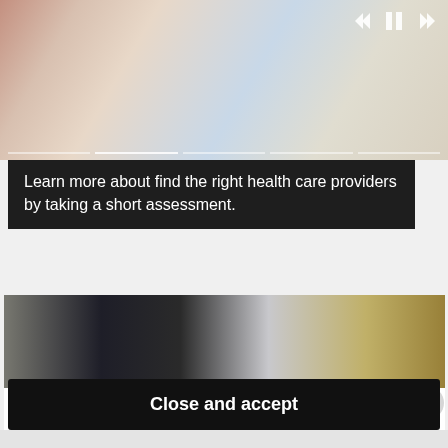[Figure (photo): Person studying or writing at a desk, blurred background with pencil and books visible]
Learn more about find the right health care providers by taking a short assessment.
[Figure (photo): Person in dark clothing near white vehicle exterior, outdoor scene visible on right]
Privacy & Cookies: This site uses cookies. By continuing to use this website, you agree to their use.
To find out more, including how to control cookies, see here: Cookie Policy
Close and accept